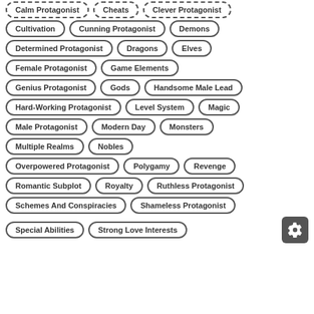Cultivation
Cunning Protagonist
Demons
Determined Protagonist
Dragons
Elves
Female Protagonist
Game Elements
Genius Protagonist
Gods
Handsome Male Lead
Hard-Working Protagonist
Level System
Magic
Male Protagonist
Modern Day
Monsters
Multiple Realms
Nobles
Overpowered Protagonist
Polygamy
Revenge
Romantic Subplot
Royalty
Ruthless Protagonist
Schemes And Conspiracies
Shameless Protagonist
Special Abilities
Strong Love Interests